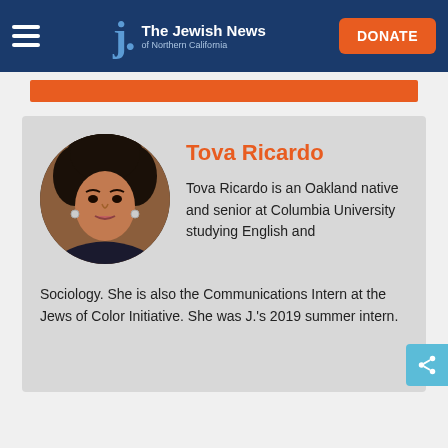The Jewish News of Northern California — DONATE
[Figure (logo): The Jewish News of Northern California logo with hamburger menu and DONATE button]
[Figure (photo): Circular profile photo of Tova Ricardo, a young woman with natural curly hair]
Tova Ricardo
Tova Ricardo is an Oakland native and senior at Columbia University studying English and Sociology. She is also the Communications Intern at the Jews of Color Initiative. She was J.'s 2019 summer intern.